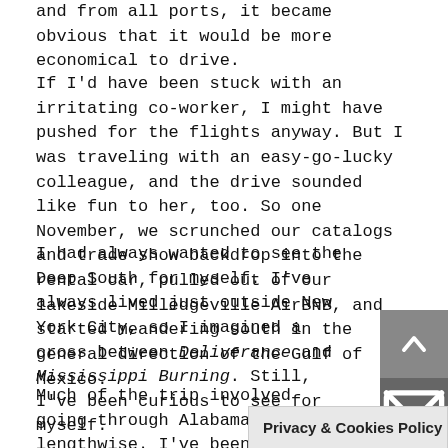and from all ports, it became obvious that it would be more economical to drive.
If I'd have been stuck with an irritating co-worker, I might have pushed for the flights anyway. But I was traveling with an easy-go-lucky colleague, and the drive sounded like fun to her, too. So one November, we scrunched our catalogs and trade show backdrop into the rental car, pulled out of our lakeside Milledgeville AirBNB, and started meandering south in the general direction of the Gulf of Mexico.
I had always wanted to see the Deep South for myself. I've always lived just outside New York City, so I imagined a cross between Deliverance and Mississippi Burning. Still, I've been curious to see for myself.
Much of the trip involved going through Alabama lengthwise. I've been thinking a lot about that drive. I've watched the Se... he race b...